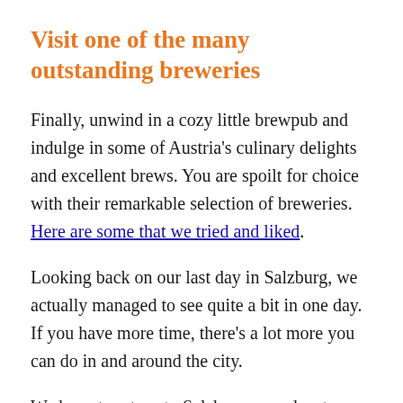Visit one of the many outstanding breweries
Finally, unwind in a cozy little brewpub and indulge in some of Austria's culinary delights and excellent brews. You are spoilt for choice with their remarkable selection of breweries. Here are some that we tried and liked.
Looking back on our last day in Salzburg, we actually managed to see quite a bit in one day. If you have more time, there's a lot more you can do in and around the city.
We hope to return to Salzburg someday, to explore more of the unspoiled beauty and culture that fills every little